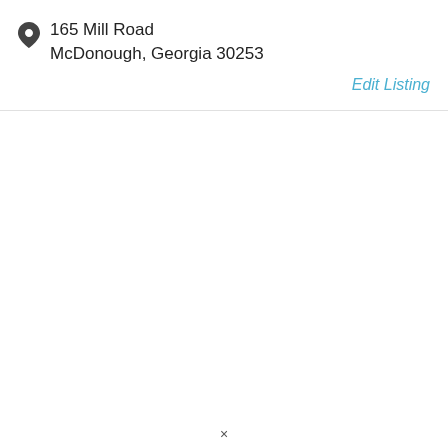165 Mill Road
McDonough, Georgia 30253
Edit Listing